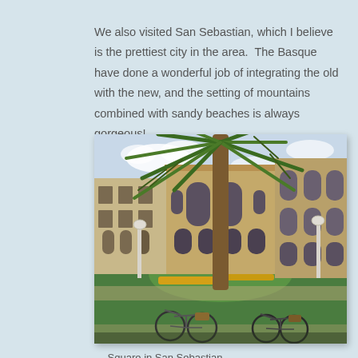We also visited San Sebastian, which I believe is the prettiest city in the area.  The Basque have done a wonderful job of integrating the old with the new, and the setting of mountains combined with sandy beaches is always gorgeous!
[Figure (photo): A plaza or square in San Sebastian showing a large palm tree in the center of a roundabout with green lawn and yellow flowers, classical stone buildings in the background including an ornate facade with arched windows, white street lamps, bicycles parked in the foreground.]
— Square in San Sebastian